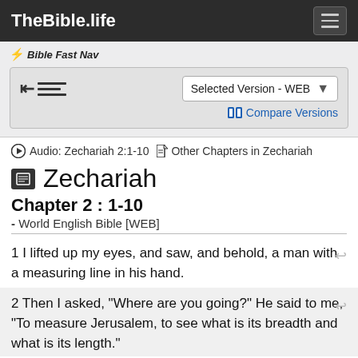TheBible.life
Bible Fast Nav
Selected Version - WEB
Compare Versions
Audio: Zechariah 2:1-10   Other Chapters in Zechariah
Zechariah
Chapter 2 : 1-10
- World English Bible [WEB]
1 I lifted up my eyes, and saw, and behold, a man with a measuring line in his hand.
2 Then I asked, "Where are you going?" He said to me, "To measure Jerusalem, to see what is its breadth and what is its length."